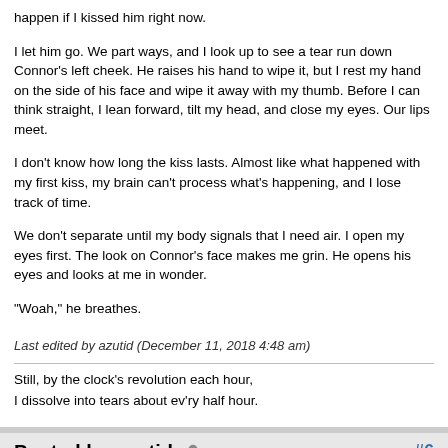happen if I kissed him right now.
I let him go. We part ways, and I look up to see a tear run down Connor's left cheek. He raises his hand to wipe it, but I rest my hand on the side of his face and wipe it away with my thumb. Before I can think straight, I lean forward, tilt my head, and close my eyes. Our lips meet.
I don't know how long the kiss lasts. Almost like what happened with my first kiss, my brain can't process what's happening, and I lose track of time.
We don't separate until my body signals that I need air. I open my eyes first. The look on Connor's face makes me grin. He opens his eyes and looks at me in wonder.
"Woah," he breathes.
Last edited by azutid (December 11, 2018 4:48 am)
Still, by the clock's revolution each hour,
I dissolve into tears about ev'ry half hour.
Posted by azutid   #6
December 10, 2018 3:26 am
[By "last chapter," I meant previous chapter. That won't be the last chapter told from Kaleb's POV...]